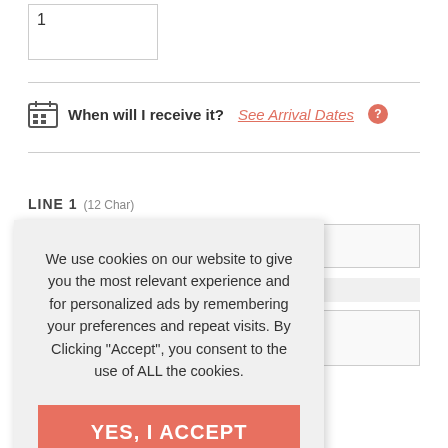1
When will I receive it? See Arrival Dates
LINE 1  (12 Char)
We use cookies on our website to give you the most relevant experience and for personalized ads by remembering your preferences and repeat visits. By Clicking "Accept", you consent to the use of ALL the cookies.
YES, I ACCEPT
More Info
s checkbox that the lized item is correct, uation, and y we cannot be held incorrect dates, or the everything carefully